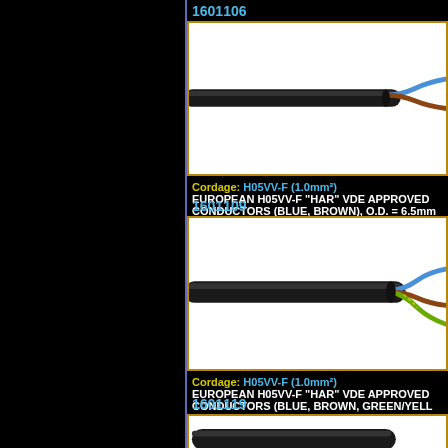1601106
[Figure (photo): European H05VV-F cable with black outer jacket splitting to show blue and brown conductors on right end]
Cordage: H05VV-F (1.0mm²) EUROPEAN H05VV-F "HAR" VDE APPROVED... CONDUCTORS (BLUE, BROWN), O.D. = 6.5mm
1601109
[Figure (photo): European H05VV-F cable with black outer jacket splitting to show blue, brown, and green/yellow conductors on right end]
Cordage: H05VV-F (1.0mm²) EUROPEAN H05VV-F "HAR" VDE APPROVED... CONDUCTORS (BLUE, BROWN, GREEN/YELL...
1601119